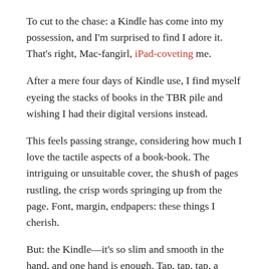To cut to the chase: a Kindle has come into my possession, and I'm surprised to find I adore it. That's right, Mac-fangirl, iPad-coveting me.
After a mere four days of Kindle use, I find myself eyeing the stacks of books in the TBR pile and wishing I had their digital versions instead.
This feels passing strange, considering how much I love the tactile aspects of a book-book. The intriguing or unsuitable cover, the shush of pages rustling, the crisp words springing up from the page. Font, margin, endpapers: these things I cherish.
But: the Kindle—it's so slim and smooth in the hand, and one hand is enough. Tap, tap, tap, a single thumb—either thumb, a detail I appreciate—advances the pages. Three chapters into a book about Sudan, I find myself wanting some background; I nudge the little square button and